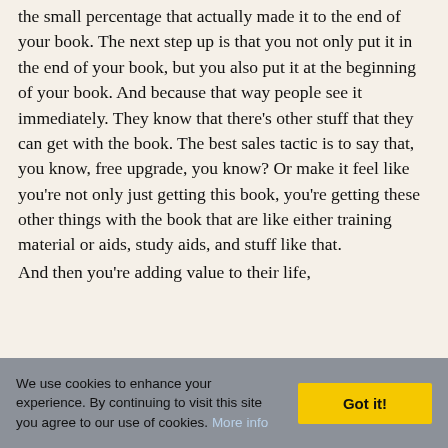the small percentage that actually made it to the end of your book. The next step up is that you not only put it in the end of your book, but you also put it at the beginning of your book. And because that way people see it immediately. They know that there's other stuff that they can get with the book. The best sales tactic is to say that, you know, free upgrade, you know? Or make it feel like you're not only just getting this book, you're getting these other things with the book that are like either training material or aids, study aids, and stuff like that.

And then you're adding value to their life,
We use cookies to enhance your experience. By continuing to visit this site you agree to our use of cookies. More info